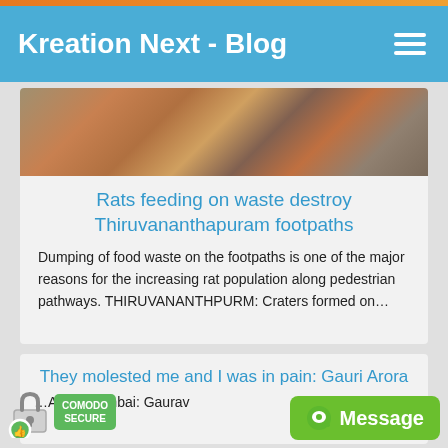Kreation Next - Blog
[Figure (photo): Close-up photo of cracked/damaged footpath or pavement surface with brownish and reddish tones]
Rats feeding on waste destroy Thiruvananthapuram footpaths
Dumping of food waste on the footpaths is one of the major reasons for the increasing rat population along pedestrian pathways. THIRUVANANTHPURM: Craters formed on…
They molested me and I was in pain: Gauri Arora
...Arora Mumbai: Gaurav...
[Figure (logo): Comodo Secure badge with padlock icon and green thumbs-up seal]
Message